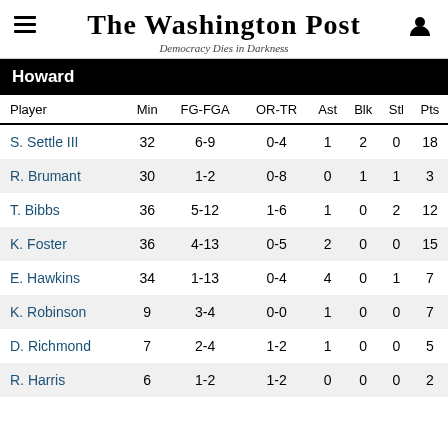The Washington Post — Democracy Dies in Darkness
Howard
| Player | Min | FG-FGA | OR-TR | Ast | Blk | Stl | Pts |
| --- | --- | --- | --- | --- | --- | --- | --- |
| S. Settle III | 32 | 6-9 | 0-4 | 1 | 2 | 0 | 18 |
| R. Brumant | 30 | 1-2 | 0-8 | 0 | 1 | 1 | 3 |
| T. Bibbs | 36 | 5-12 | 1-6 | 1 | 0 | 2 | 12 |
| K. Foster | 36 | 4-13 | 0-5 | 2 | 0 | 0 | 15 |
| E. Hawkins | 34 | 1-13 | 0-4 | 4 | 0 | 1 | 7 |
| K. Robinson | 9 | 3-4 | 0-0 | 1 | 0 | 0 | 7 |
| D. Richmond | 7 | 2-4 | 1-2 | 1 | 0 | 0 | 5 |
| R. Harris | 6 | 1-2 | 1-2 | 0 | 0 | 0 | 2 |